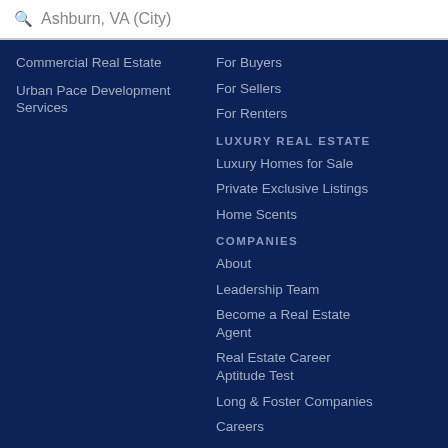Ashburn, VA (City)
Commercial Real Estate
Urban Pace Development Services
For Buyers
For Sellers
For Renters
LUXURY REAL ESTATE
Luxury Homes for Sale
Private Exclusive Listings
Home Scents
COMPANIES
About
Leadership Team
Become a Real Estate Agent
Real Estate Career Aptitude Test
Long & Foster Companies
Careers